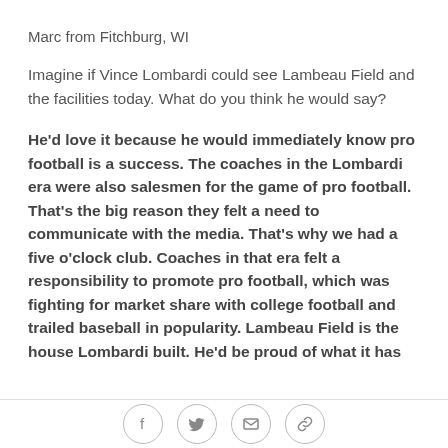Marc from Fitchburg, WI
Imagine if Vince Lombardi could see Lambeau Field and the facilities today. What do you think he would say?
He'd love it because he would immediately know pro football is a success. The coaches in the Lombardi era were also salesmen for the game of pro football. That's the big reason they felt a need to communicate with the media. That's why we had a five o'clock club. Coaches in that era felt a responsibility to promote pro football, which was fighting for market share with college football and trailed baseball in popularity. Lambeau Field is the house Lombardi built. He'd be proud of what it has
[Figure (infographic): Social share icons row: Facebook, Twitter, Email, Link]